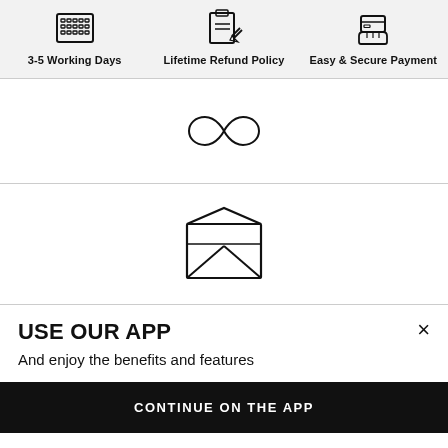[Figure (infographic): Three icons in a grey banner: calendar/keyboard icon labeled '3-5 Working Days', a form-and-pen icon labeled 'Lifetime Refund Policy', and a hand-with-card icon labeled 'Easy & Secure Payment']
3-5 Working Days
Lifetime Refund Policy
Easy & Secure Payment
[Figure (illustration): Infinity symbol icon (∞) in outline style]
[Figure (illustration): Open envelope icon in outline style]
USE OUR APP
And enjoy the benefits and features
CONTINUE ON THE APP